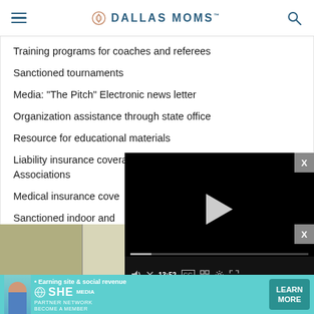DALLAS MOMS
Training programs for coaches and referees
Sanctioned tournaments
Media: "The Pitch" Electronic news letter
Organization assistance through state office
Resource for educational materials
Liability insurance coverage for administrators and Member Associations
Medical insurance coverage for coaches
Sanctioned indoor and...
[Figure (screenshot): Embedded video player with black background, play button, progress bar showing 13:52, and playback controls including mute, CC, grid, settings, and fullscreen icons.]
[Figure (photo): Photo strip at bottom showing interior room photos]
[Figure (infographic): Advertisement banner for SHE Media Partner Network with text: Earning site & social revenue, LEARN MORE button]